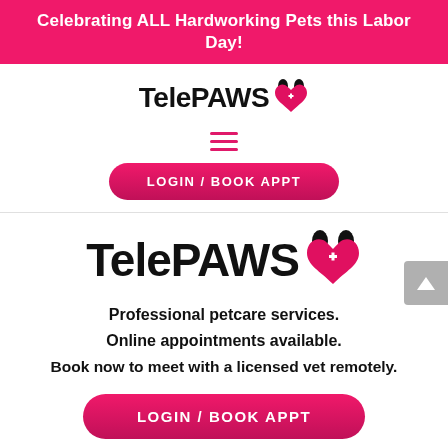Celebrating ALL Hardworking Pets this Labor Day!
[Figure (logo): TelePAWS logo with pet and heart icon, small version]
[Figure (infographic): Hamburger menu icon (three horizontal pink lines)]
[Figure (other): LOGIN / BOOK APPT pink pill button]
[Figure (logo): TelePAWS logo with pet and heart icon, large version]
Professional petcare services.
Online appointments available.
Book now to meet with a licensed vet remotely.
[Figure (other): LOGIN / BOOK APPT pink pill button (larger)]